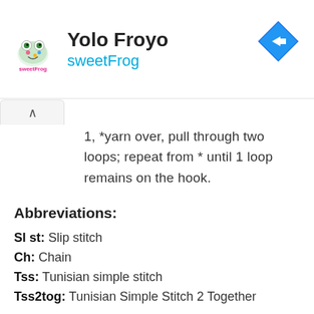[Figure (logo): sweetFrog logo with pink text and colorful dot design]
Yolo Froyo
sweetFrog
[Figure (other): Blue diamond navigation/direction icon with right-turn arrow]
1, *yarn over, pull through two loops; repeat from * until 1 loop remains on the hook.
Abbreviations:
Sl st: Slip stitch
Ch: Chain
Tss: Tunisian simple stitch
Tss2tog: Tunisian Simple Stitch 2 Together